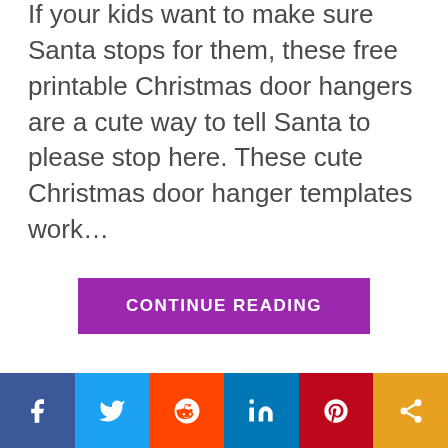If your kids want to make sure Santa stops for them, these free printable Christmas door hangers are a cute way to tell Santa to please stop here. These cute Christmas door hanger templates work...
CONTINUE READING
[Figure (infographic): Social sharing bar with icons for Facebook, Twitter, Reddit, LinkedIn, Pinterest, and share button]